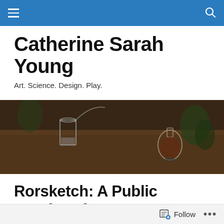Navigation bar with menu and search icons
Catherine Sarah Young
Art. Science. Design. Play.
[Figure (photo): Outdoor scene with glass beakers and flasks on a wooden surface with plants in background]
Rorsketch: A Public Interface for MoMA PS1
In the Pixar movie, Up, one of my favorite scenes is the one you see below. Before Carl became the grumpy old
Follow ...